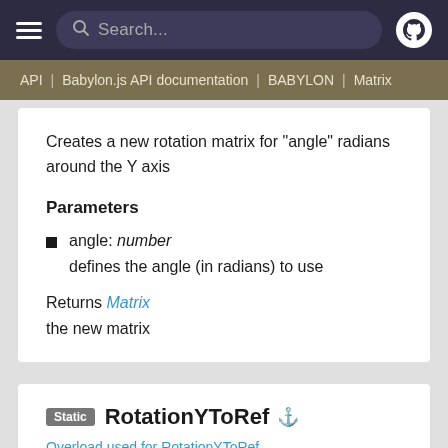≡  Search...  [GitHub]
API | Babylon.js API documentation | BABYLON | Matrix
Creates a new rotation matrix for "angle" radians around the Y axis
Parameters
angle: number
defines the angle (in radians) to use
Returns Matrix
the new matrix
Static RotationYToRef ⚓